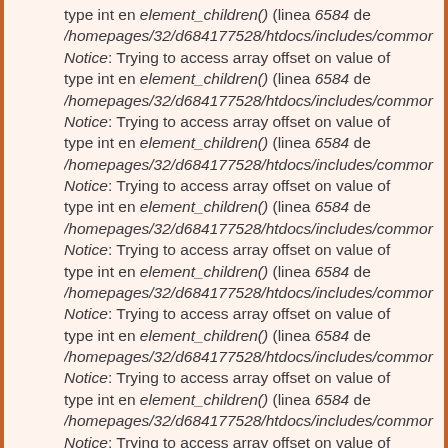type int en element_children() (linea 6584 de /homepages/32/d684177528/htdocs/includes/commor Notice: Trying to access array offset on value of type int en element_children() (linea 6584 de /homepages/32/d684177528/htdocs/includes/commor Notice: Trying to access array offset on value of type int en element_children() (linea 6584 de /homepages/32/d684177528/htdocs/includes/commor Notice: Trying to access array offset on value of type int en element_children() (linea 6584 de /homepages/32/d684177528/htdocs/includes/commor Notice: Trying to access array offset on value of type int en element_children() (linea 6584 de /homepages/32/d684177528/htdocs/includes/commor Notice: Trying to access array offset on value of type int en element_children() (linea 6584 de /homepages/32/d684177528/htdocs/includes/commor Notice: Trying to access array offset on value of type int en element_children() (linea 6584 de /homepages/32/d684177528/htdocs/includes/commor Notice: Trying to access array offset on value of type int en element_children() (linea 6584 de /homepages/32/d684177528/htdocs/includes/commor Deprecated function: implode(): Passing glue